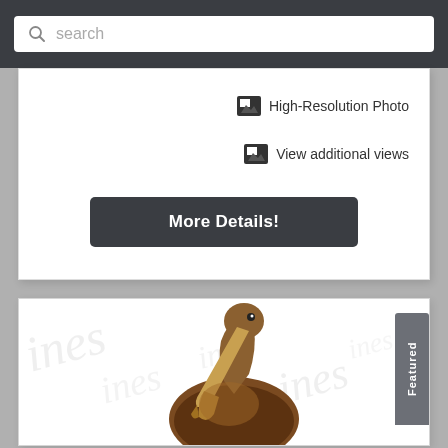search
High-Resolution Photo
View additional views
More Details!
[Figure (photo): A bronze/brown pelican sculpture shown from the upper body, with beak pointing downward, on a white background with a faint watermark text pattern. A 'Featured' badge appears on the right side.]
Featured